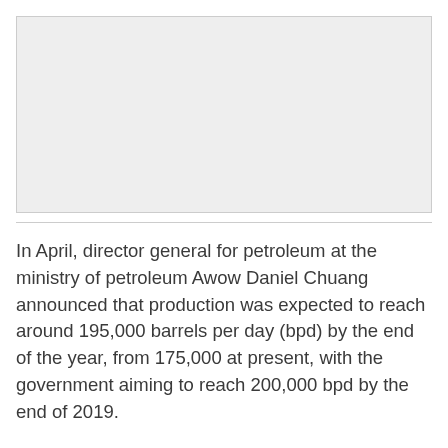[Figure (photo): Image placeholder area (gray rectangle, content not visible)]
In April, director general for petroleum at the ministry of petroleum Awow Daniel Chuang announced that production was expected to reach around 195,000 barrels per day (bpd) by the end of the year, from 175,000 at present, with the government aiming to reach 200,000 bpd by the end of 2019.